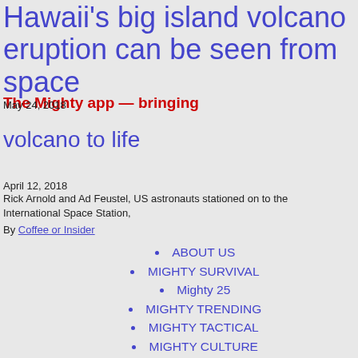Hawaii's big island volcano eruption can be seen from space
The Mighty app — bringing volcano to life
May 24, 2018
Rick Arnold and Ad Feustel, US astronauts stationed on to the International Space Station,
April 12, 2018
By Coffee or Insider
ABOUT US
MIGHTY SURVIVAL
Mighty 25
MIGHTY TRENDING
MIGHTY TACTICAL
MIGHTY CULTURE
MIGHTY GAMING
MIGHTY FIT
MIGHTY MONEY
MIGHTY SPORTS
The MIGHTY FIT Plan
PRESS